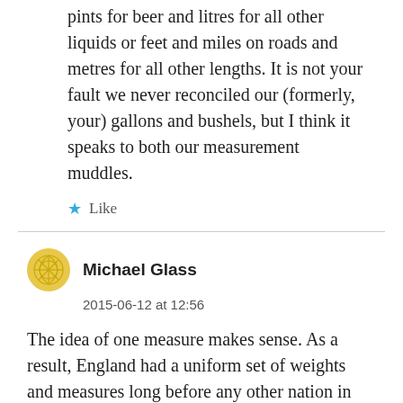pints for beer and litres for all other liquids or feet and miles on roads and metres for all other lengths. It is not your fault we never reconciled our (formerly, your) gallons and bushels, but I think it speaks to both our measurement muddles.
★ Like
Michael Glass
2015-06-12 at 12:56
The idea of one measure makes sense. As a result, England had a uniform set of weights and measures long before any other nation in Europe. The downside of this was that when